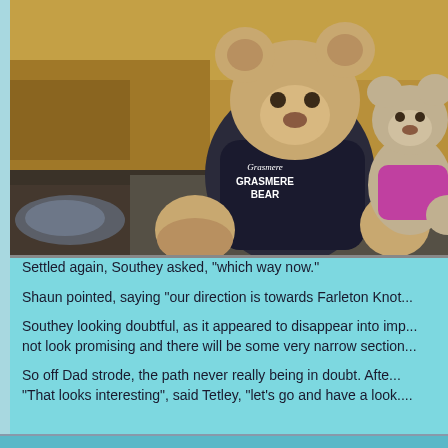[Figure (photo): Two teddy bears sitting outdoors on a stone surface. The larger bear on the left wears a dark navy blue knitted sweater with 'GRASMERE BEAR' embroidered on it. A smaller grey bear on the right wears a pink/magenta scarf or top. Background shows dried grass and outdoor scenery.]
Settled again, Southey asked, "which way now."
Shaun pointed, saying "our direction is towards Farleton Knot...
Southey looking doubtful, as it appeared to disappear into imp... not look promising and there will be some very narrow section...
So off Dad strode, the path never really being in doubt. Afte... "That looks interesting", said Tetley, "let's go and have a look....